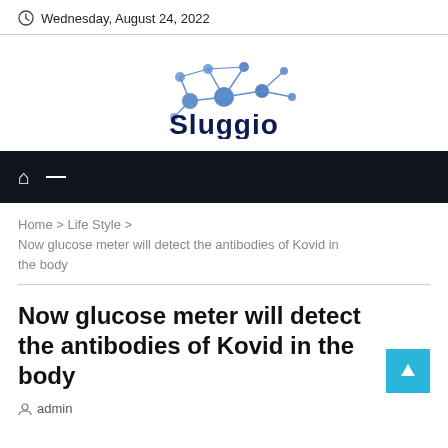Wednesday, August 24, 2022
[Figure (logo): Sluggio network/molecular logo with dark blue text 'Sluggio' and a network graph icon above]
Home > Life Style > Now glucose meter will detect the antibodies of Kovid in the body
Now glucose meter will detect the antibodies of Kovid in the body
admin